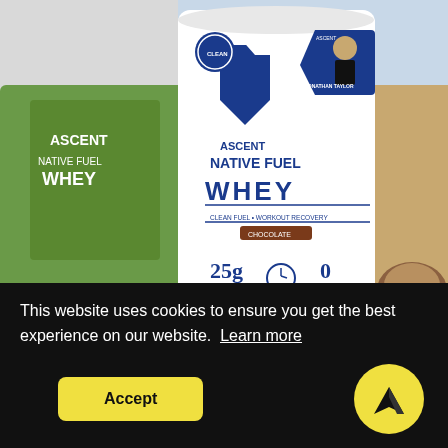[Figure (photo): Ascent Native Fuel Whey protein powder bag in chocolate flavor, center. Left side shows partial green package. Right side shows partial food image. Jonathan Taylor athlete badge on bag. 25g protein, FAST, 0 artificial claims visible.]
Chocol...
INGRED... milk 1 teaspo... flour, spoone...
LIMITED EDITION
For a limited time, shop Ascent Athlete Jonathan Taylor's favorite protein powder - chocolate whey -
This website uses cookies to ensure you get the best experience on our website. Learn more
Accept
season.